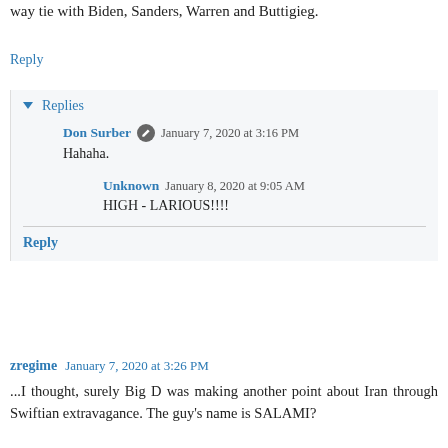way tie with Biden, Sanders, Warren and Buttigieg.
Reply
Replies
Don Surber  January 7, 2020 at 3:16 PM
Hahaha.
Unknown  January 8, 2020 at 9:05 AM
HIGH - LARIOUS!!!!
Reply
zregime  January 7, 2020 at 3:26 PM
...I thought, surely Big D was making another point about Iran through Swiftian extravagance. The guy's name is SALAMI?